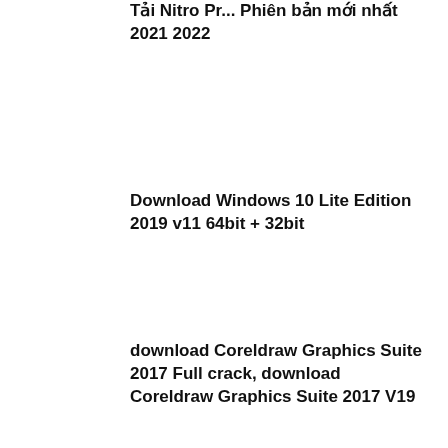Tải Nitro Pr... Phiên bản mới nhất 2021 2022
Download Windows 10 Lite Edition 2019 v11 64bit + 32bit
download Coreldraw Graphics Suite 2017 Full crack, download Coreldraw Graphics Suite 2017 V19